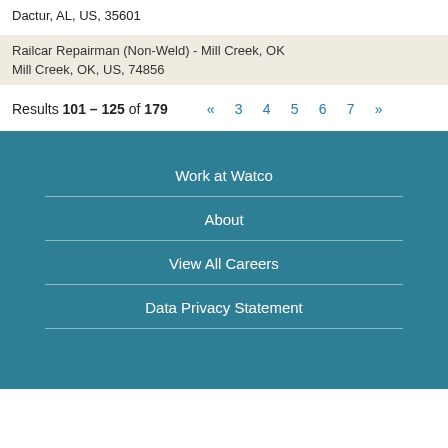Dactur, AL, US, 35601
Railcar Repairman (Non-Weld) - Mill Creek, OK
Mill Creek, OK, US, 74856
Results 101 – 125 of 179  «  3  4  5  6  7  »
Work at Watco
About
View All Careers
Data Privacy Statement